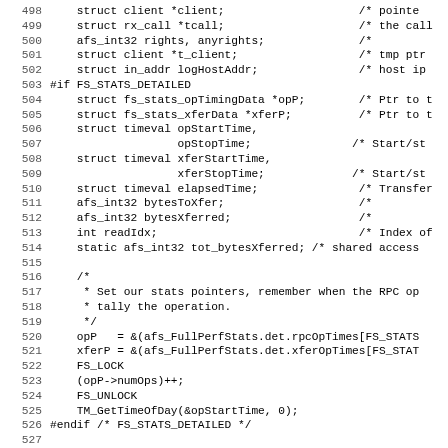[Figure (screenshot): Source code listing in C, lines 498-530, showing variable declarations and code inside a function with FS_STATS_DETAILED conditional compilation block, including struct declarations, stat pointer initialization, locking calls, and ViceLog call.]